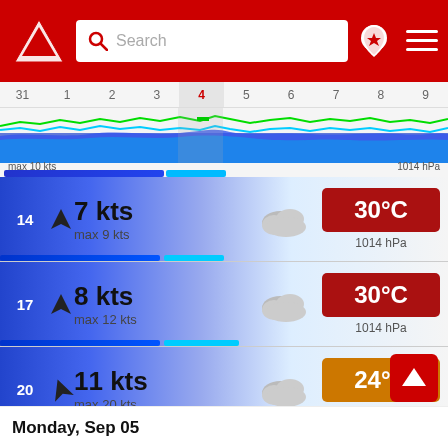[Figure (screenshot): Weather app header with red background, logo, search box, location pin and hamburger menu]
[Figure (continuous-plot): Wave/wind chart strip showing days 31,1,2,3,4,5,6,7,8,9 with wind and pressure data. max 10 kts, 1014 hPa]
14
7 kts
max 9 kts
30°C
1014 hPa
17
8 kts
max 12 kts
30°C
1014 hPa
20
11 kts
max 20 kts
24°C
1014 hPa
23
4 kts
max 5 kts
1.1 mm
19°C
1016 hPa
Monday, Sep 05